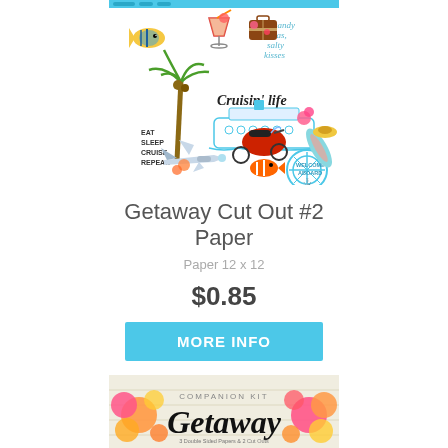[Figure (illustration): Getaway Cut Out #2 Paper product image showing cruise-themed watercolor stickers: tropical fish, cocktail, luggage, palm tree, cruise ship, airplane, scooter, Welcome Aboard helm badge, clownfish, surfboard, hibiscus flowers, and text 'Cruisin Life', 'Eat Sleep Cruise Repeat', 'Sandy toes salty kisses']
Getaway Cut Out #2 Paper
Paper 12 x 12
$0.85
MORE INFO
[Figure (illustration): Getaway Companion Kit product banner with tropical hibiscus flowers on left and right, cursive 'Getaway' text in center with 'COMPANION KIT' header, subtext about double sided papers and cut outs, Scrapbook brand logo at bottom]